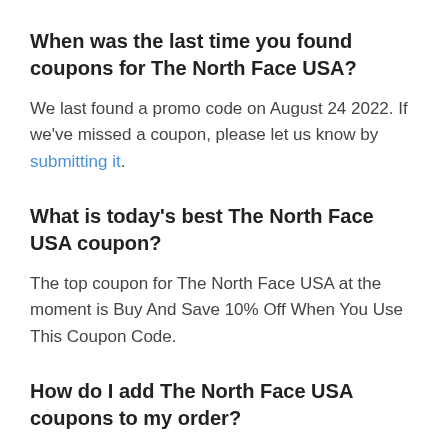When was the last time you found coupons for The North Face USA?
We last found a promo code on August 24 2022. If we've missed a coupon, please let us know by submitting it.
What is today's best The North Face USA coupon?
The top coupon for The North Face USA at the moment is Buy And Save 10% Off When You Use This Coupon Code.
How do I add The North Face USA coupons to my order?